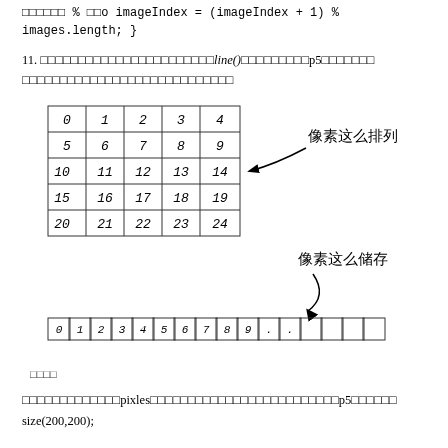…… % …o imageIndex = (imageIndex + 1) % images.length; }
11. ……………………………………line()…………p5…………………………………………………………
[Figure (infographic): A 5x5 grid table of pixel numbers 0-24 with label '像素这么排列' (pixels arranged like this) pointing to row 3 (10-14), and an arrow pointing down to a linear array showing 0123456789... with label '像素这么储存' (pixels stored like this)]
图示
……………………pixles……………………………………p5……size(200,200);